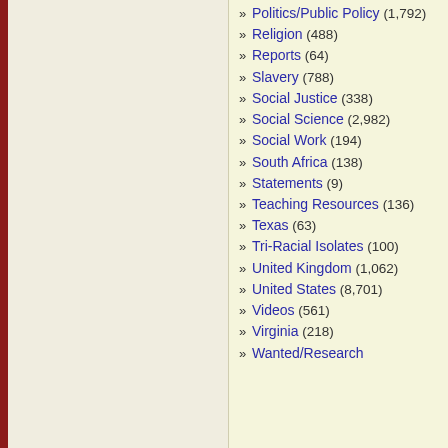» Politics/Public Policy (1,792)
» Religion (488)
» Reports (64)
» Slavery (788)
» Social Justice (338)
» Social Science (2,982)
» Social Work (194)
» South Africa (138)
» Statements (9)
» Teaching Resources (136)
» Texas (63)
» Tri-Racial Isolates (100)
» United Kingdom (1,062)
» United States (8,701)
» Videos (561)
» Virginia (218)
» Wanted/Research